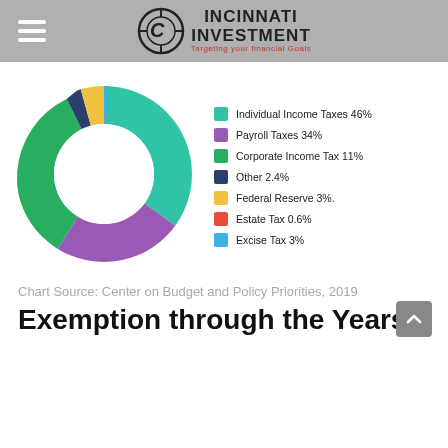Cincinnati Investment
[Figure (donut-chart): Federal Revenue Sources]
Chart Source: Center on Budget and Policy Priorities, 2019
Exemption through the Years